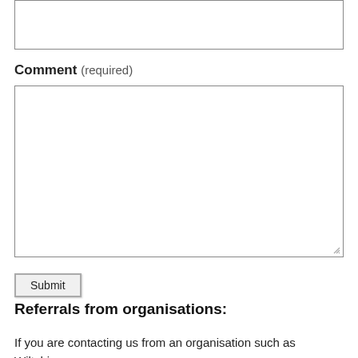[Figure (other): Empty input text field at top of page]
Comment (required)
[Figure (other): Large empty comment textarea with resize handle]
Submit
Referrals from organisations:
If you are contacting us from an organisation such as Wiltshire